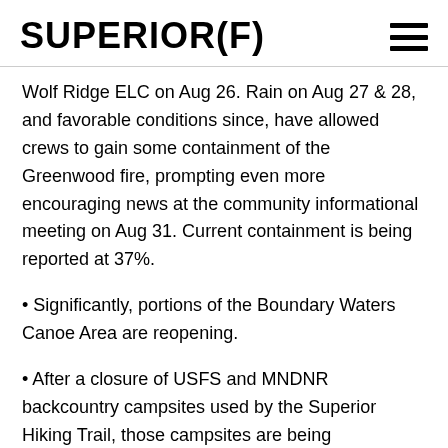SUPERIOR(F)
Wolf Ridge ELC on Aug 26. Rain on Aug 27 & 28, and favorable conditions since, have allowed crews to gain some containment of the Greenwood fire, prompting even more encouraging news at the community informational meeting on Aug 31. Current containment is being reported at 37%.
• Significantly, portions of the Boundary Waters Canoe Area are reopening.
• After a closure of USFS and MNDNR backcountry campsites used by the Superior Hiking Trail, those campsites are being